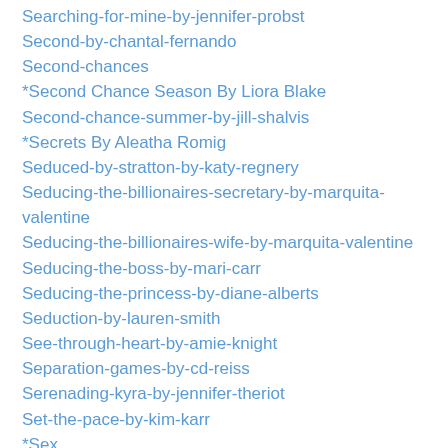Searching-for-mine-by-jennifer-probst
Second-by-chantal-fernando
Second-chances
*Second Chance Season By Liora Blake
Second-chance-summer-by-jill-shalvis
*Secrets By Aleatha Romig
Seduced-by-stratton-by-katy-regnery
Seducing-the-billionaires-secretary-by-marquita-valentine
Seducing-the-billionaires-wife-by-marquita-valentine
Seducing-the-boss-by-mari-carr
Seducing-the-princess-by-diane-alberts
Seduction-by-lauren-smith
See-through-heart-by-amie-knight
Separation-games-by-cd-reiss
Serenading-kyra-by-jennifer-theriot
Set-the-pace-by-kim-karr
*Sex
Sex-machine-by-marie-force
*Sex Symbol By Laurelin Paige
*Sexy Stranger By Kendall Ryan
Shadow-fall-by-laura-griffin
Shame